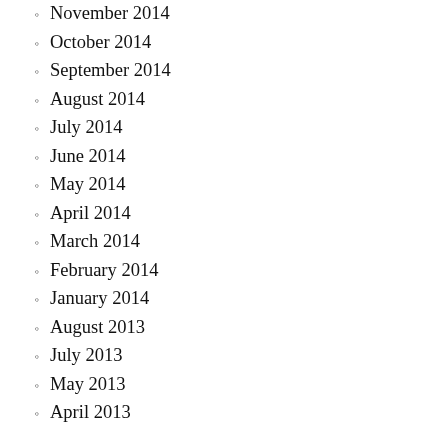November 2014
October 2014
September 2014
August 2014
July 2014
June 2014
May 2014
April 2014
March 2014
February 2014
January 2014
August 2013
July 2013
May 2013
April 2013